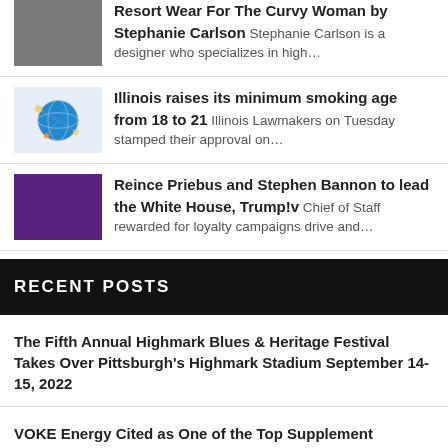Resort Wear For The Curvy Woman by Stephanie Carlson Stephanie Carlson is a designer who specializes in high...
Illinois raises its minimum smoking age from 18 to 21 Illinois Lawmakers on Tuesday stamped their approval on...
Reince Priebus and Stephen Bannon to lead the White House, Trump!v Chief of Staff rewarded for loyalty campaigns drive and...
RECENT POSTS
The Fifth Annual Highmark Blues & Heritage Festival Takes Over Pittsburgh's Highmark Stadium September 14-15, 2022
VOKE Energy Cited as One of the Top Supplement Products of the Month by NewsHealthwatch